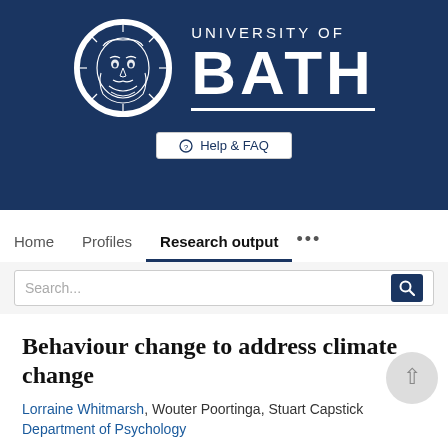[Figure (logo): University of Bath logo: circular emblem with face design on left, 'UNIVERSITY OF BATH' text on right with underline, white on dark navy background]
⊕ Help & FAQ
Home   Profiles   Research output   ...
Search...
Behaviour change to address climate change
Lorraine Whitmarsh, Wouter Poortinga, Stuart Capstick
Department of Psychology